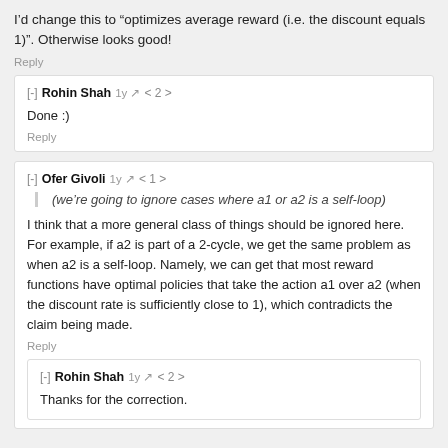I’d change this to “optimizes average reward (i.e. the discount equals 1)”. Otherwise looks good!
Reply
[-] Rohin Shah 1y ↗ < 2 >
Done :)
Reply
[-] Ofer Givoli 1y ↗ < 1 >
(we’re going to ignore cases where a1 or a2 is a self-loop)
I think that a more general class of things should be ignored here. For example, if a2 is part of a 2-cycle, we get the same problem as when a2 is a self-loop. Namely, we can get that most reward functions have optimal policies that take the action a1 over a2 (when the discount rate is sufficiently close to 1), which contradicts the claim being made.
Reply
[-] Rohin Shah 1y ↗ < 2 >
Thanks for the correction.